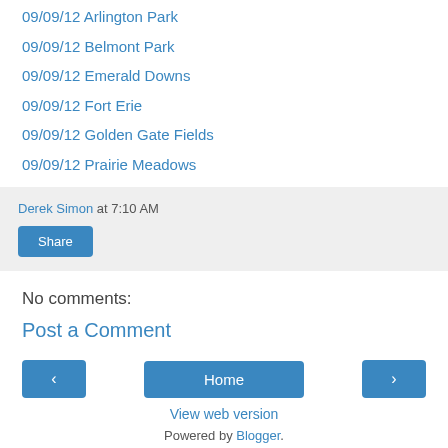09/09/12 Arlington Park
09/09/12 Belmont Park
09/09/12 Emerald Downs
09/09/12 Fort Erie
09/09/12 Golden Gate Fields
09/09/12 Prairie Meadows
Derek Simon at 7:10 AM
Share
No comments:
Post a Comment
Home
View web version
Powered by Blogger.